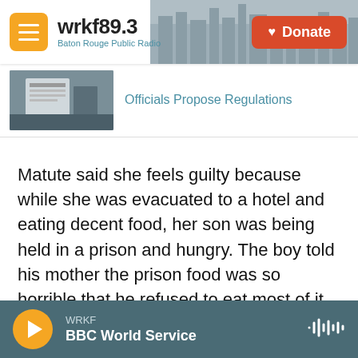wrkf89.3 Baton Rouge Public Radio — Donate
[Figure (screenshot): Article thumbnail image showing a document on a wall]
Officials Propose Regulations
Matute said she feels guilty because while she was evacuated to a hotel and eating decent food, her son was being held in a prison and hungry. The boy told his mother the prison food was so horrible that he refused to eat most of it.
The juvenile justice center had called Matute ahead of the hurricane to tell her that the child would be evacuated, but they didn't say where he was going. She never imagined he was going to an adult
WRKF — BBC World Service